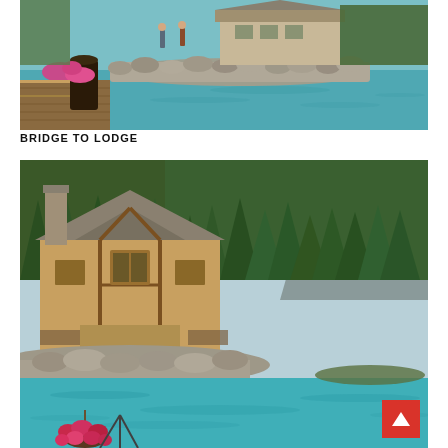[Figure (photo): A wooden boardwalk/bridge leading toward a lodge building across turquoise lake water, with a rock retaining wall, colorful pink flowers, and a dark wooden barrel/post in the foreground. People walking in the background near a rustic building.]
BRIDGE TO LODGE
[Figure (photo): A rustic wooden lodge building with a stone chimney and timber-frame porch, surrounded by tall evergreen trees and a mountain in the background. In the foreground, a brilliant turquoise lake with a rocky shoreline. A hanging basket of pink/magenta flowers is visible at the bottom left, along with a tripod.]